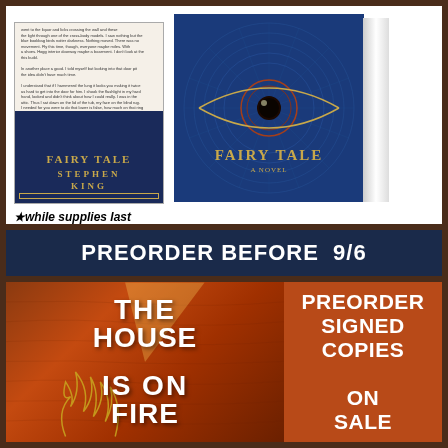[Figure (photo): Two book covers of 'Fairy Tale' by Stephen King. Left: front cover showing a dark navy blue book with gold ornate border and text reading FAIRY TALE / STEPHEN KING. Right: 3D perspective of hardcover showing an eye with scales/geometric pattern and the title FAIRY TALE in gold text.]
*while supplies last
PREORDER BEFORE 9/6
[Figure (photo): Book cover of 'The House Is On Fire' with wood-textured background in warm brown/orange tones, white flame illustrations, and title text THE HOUSE IS ON FIRE in large white bold letters.]
PREORDER SIGNED COPIES ON SALE